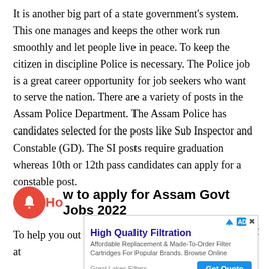It is another big part of a state government's system. This one manages and keeps the other work run smoothly and let people live in peace. To keep the citizen in discipline Police is necessary. The Police job is a great career opportunity for job seekers who want to serve the nation. There are a variety of posts in the Assam Police Department. The Assam Police has candidates selected for the posts like Sub Inspector and Constable (GD). The SI posts require graduation whereas 10th or 12th pass candidates can apply for a constable post.
How to apply for Assam Govt Jobs 2022
To help you out to get a Sarkari Job in Assam Govt, we at
[Figure (screenshot): Advertisement banner for 'High Quality Filtration' by Great Lakes Filters. Shows title in blue, description text about affordable replacement & made-to-order filter cartridges, and a blue 'Get Quote' button.]